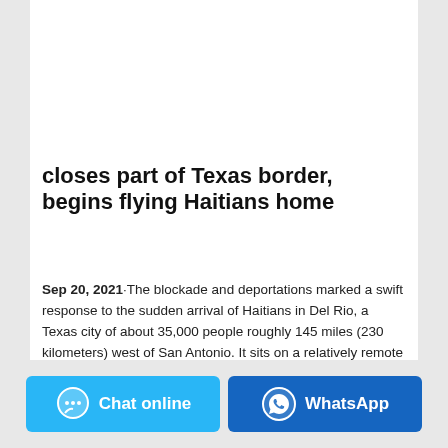[Figure (photo): Mamaloves Baby Diapers product box, size 1, 2-5kg, Unisex, with a baby image on the front, mauve/rose colored packaging.]
closes part of Texas border, begins flying Haitians home
Sep 20, 2021·The blockade and deportations marked a swift response to the sudden arrival of Haitians in Del Rio, a Texas city of about 35,000 people roughly 145 miles (230 kilometers) west of San Antonio. It sits on a relatively remote stretch of border that lacks capacity to hold and process such large numbers of people.
Chat online
WhatsApp